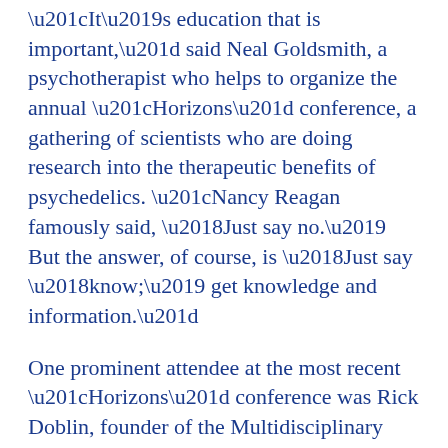“It’s education that is important,” said Neal Goldsmith, a psychotherapist who helps to organize the annual “Horizons” conference, a gathering of scientists who are doing research into the therapeutic benefits of psychedelics. “Nancy Reagan famously said, ‘Just say no.’ But the answer, of course, is ‘Just say ‘know;’ get knowledge and information.”
One prominent attendee at the most recent “Horizons” conference was Rick Doblin, founder of the Multidisciplinary Association for Psychedelic Studies (MAPS), an organization that has poured tens of millions of dollars into psychedelic research.
“Psychedelics are a way to build a connection with